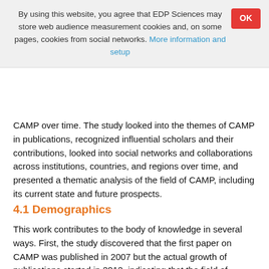By using this website, you agree that EDP Sciences may store web audience measurement cookies and, on some pages, cookies from social networks. More information and setup
CAMP over time. The study looked into the themes of CAMP in publications, recognized influential scholars and their contributions, looked into social networks and collaborations across institutions, countries, and regions over time, and presented a thematic analysis of the field of CAMP, including its current state and future prospects.
4.1 Demographics
This work contributes to the body of knowledge in several ways. First, the study discovered that the first paper on CAMP was published in 2007 but the actual growth of publications started in 2012, indicating that the field of CAMP is still young. This research identified relevant publishing outlets.